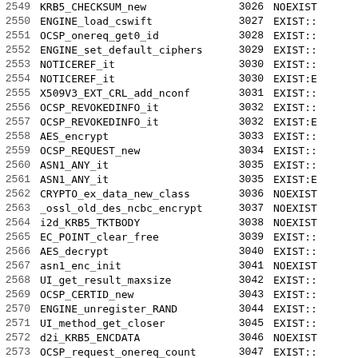| # | Name | Ord | Status |
| --- | --- | --- | --- |
| 2549 | KRB5_CHECKSUM_new | 3026 | NOEXIST |
| 2550 | ENGINE_load_cswift | 3027 | EXIST:: |
| 2551 | OCSP_onereq_get0_id | 3028 | EXIST:: |
| 2552 | ENGINE_set_default_ciphers | 3029 | EXIST:: |
| 2553 | NOTICEREF_it | 3030 | EXIST:: |
| 2554 | NOTICEREF_it | 3030 | EXIST:E |
| 2555 | X509V3_EXT_CRL_add_nconf | 3031 | EXIST:: |
| 2556 | OCSP_REVOKEDINFO_it | 3032 | EXIST:: |
| 2557 | OCSP_REVOKEDINFO_it | 3032 | EXIST:E |
| 2558 | AES_encrypt | 3033 | EXIST:: |
| 2559 | OCSP_REQUEST_new | 3034 | EXIST:: |
| 2560 | ASN1_ANY_it | 3035 | EXIST:: |
| 2561 | ASN1_ANY_it | 3035 | EXIST:E |
| 2562 | CRYPTO_ex_data_new_class | 3036 | NOEXIST |
| 2563 | _ossl_old_des_ncbc_encrypt | 3037 | NOEXIST |
| 2564 | i2d_KRB5_TKTBODY | 3038 | NOEXIST |
| 2565 | EC_POINT_clear_free | 3039 | EXIST:: |
| 2566 | AES_decrypt | 3040 | EXIST:: |
| 2567 | asn1_enc_init | 3041 | NOEXIST |
| 2568 | UI_get_result_maxsize | 3042 | EXIST:: |
| 2569 | OCSP_CERTID_new | 3043 | EXIST:: |
| 2570 | ENGINE_unregister_RAND | 3044 | EXIST:: |
| 2571 | UI_method_get_closer | 3045 | EXIST:: |
| 2572 | d2i_KRB5_ENCDATA | 3046 | NOEXIST |
| 2573 | OCSP_request_onereq_count | 3047 | EXIST:: |
| 2574 | OCSP_basic_verify | 3048 | EXIST:: |
| 2575 | KRB5_AUTHENTBODY_free | 3049 | NOEXIST |
| 2576 | ASN1_item_d2i | 3050 | EXIST:: |
| 2577 | ASN1_primitive_free | 3051 | NOEXIST |
| 2578 | i2d_EXTENDED_KEY_USAGE | 3052 | EXIST:: |
| 2579 | i2d_OCSP_SIGNATURE | 3053 | EXIST:: |
| 2580 | asn1_enc_save | 3054 | NOEXIST |
| 2581 | ENGINE_load_... | 3055 | EXIST:: |